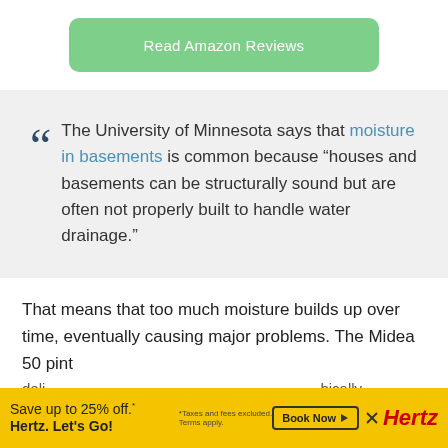[Figure (other): Green rounded button labeled 'Read Amazon Reviews']
The University of Minnesota says that moisture in basements is common because “houses and basements can be structurally sound but are often not properly built to handle water drainage.”
That means that too much moisture builds up over time, eventually causing major problems. The Midea 50 pint
[Figure (other): Hertz advertisement banner: 'Save up to 25% off. Hertz. Let’s Go!' with Book Now button and Hertz logo]